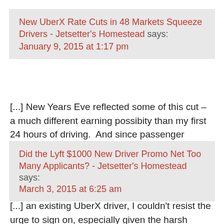New UberX Rate Cuts in 48 Markets Squeeze Drivers - Jetsetter's Homestead says: January 9, 2015 at 1:17 pm
[...] New Years Eve reflected some of this cut – a much different earning possibity than my first 24 hours of driving.  And since passenger demand is growing, by all Uber reports and projections, what is affecting [...]
Did the Lyft $1000 New Driver Promo Net Too Many Applicants? - Jetsetter's Homestead says: March 3, 2015 at 6:25 am
[...] an existing UberX driver, I couldn't resist the urge to sign on, especially given the harsh reality of Uber's [...]